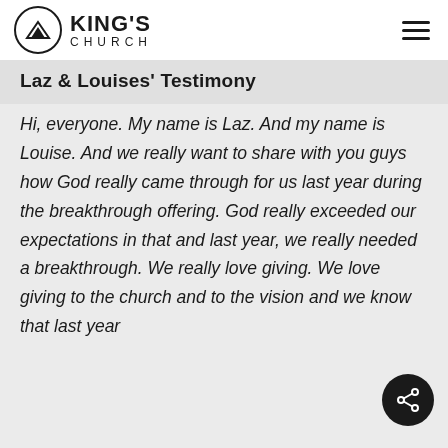KING'S CHURCH
Laz & Louises' Testimony
Hi, everyone. My name is Laz. And my name is Louise. And we really want to share with you guys how God really came through for us last year during the breakthrough offering. God really exceeded our expectations in that and last year, we really needed a breakthrough. We really love giving. We love giving to the church and to the vision and we know that last year